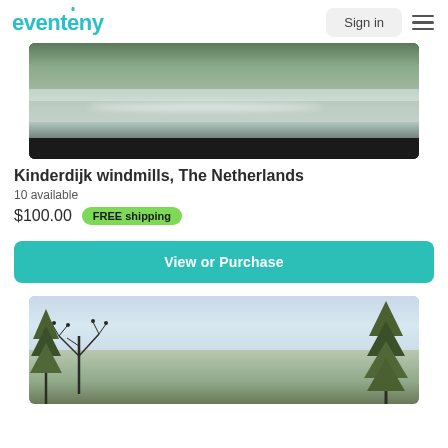eventeny | Sign in
[Figure (photo): Partial view of a painting or photograph showing a canal or river scene, likely Kinderdijk windmills area in the Netherlands, with water and vegetation]
Kinderdijk windmills, The Netherlands
10 available
$100.00  FREE shipping
View or Purchase
[Figure (photo): Watercolor painting showing trees with birds perched on bare branches against a light blue sky, with green pine trees on the right side]